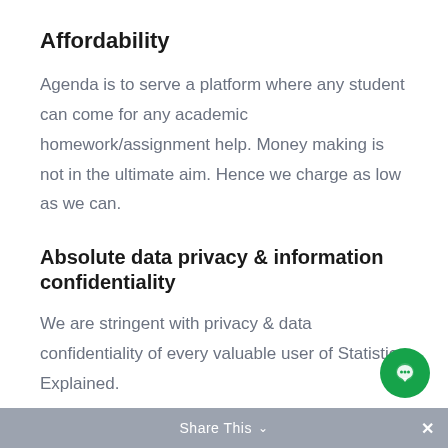Affordability
Agenda is to serve a platform where any student can come for any academic homework/assignment help. Money making is not in the ultimate aim. Hence we charge as low as we can.
Absolute data privacy & information confidentiality
We are stringent with privacy & data confidentiality of every valuable user of Statistics Explained.
Share This ∨  ×